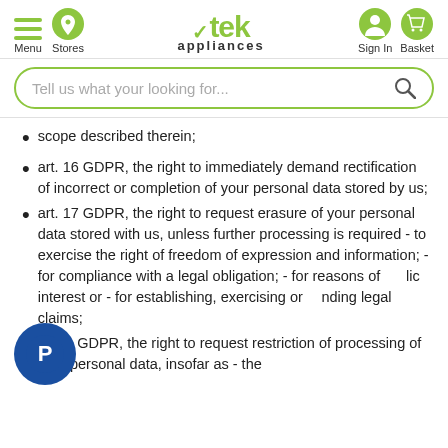utek appliances — Menu, Stores, Sign In, Basket
Tell us what your looking for...
scope described therein;
art. 16 GDPR, the right to immediately demand rectification of incorrect or completion of your personal data stored by us;
art. 17 GDPR, the right to request erasure of your personal data stored with us, unless further processing is required - to exercise the right of freedom of expression and information; - for compliance with a legal obligation; - for reasons of public interest or - for establishing, exercising or defending legal claims;
art. 18 GDPR, the right to request restriction of processing of your personal data, insofar as - the